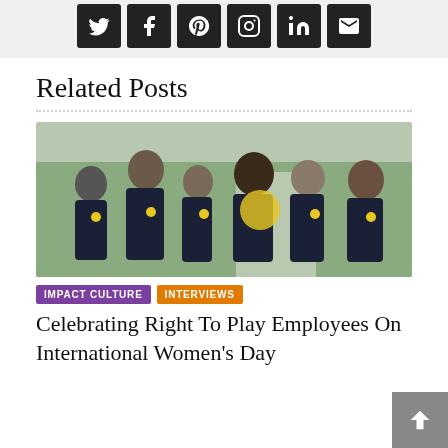[Figure (screenshot): Social media icon bar with Twitter, Facebook, Pinterest, Instagram, LinkedIn, and email icons on dark grey background]
Related Posts
[Figure (photo): Group photo of six people wearing matching dark navy polo shirts with a yellow logo, posing together outdoors]
IMPACT CULTURE
INTERVIEWS
Celebrating Right To Play Employees On International Women's Day